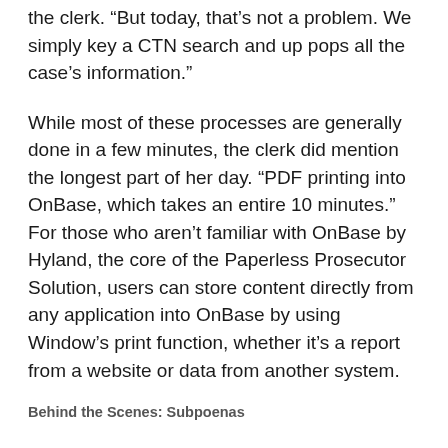the clerk. “But today, that’s not a problem. We simply key a CTN search and up pops all the case’s information.”
While most of these processes are generally done in a few minutes, the clerk did mention the longest part of her day. “PDF printing into OnBase, which takes an entire 10 minutes.” For those who aren’t familiar with OnBase by Hyland, the core of the Paperless Prosecutor Solution, users can store content directly from any application into OnBase by using Window’s print function, whether it’s a report from a website or data from another system.
Behind the Scenes: Subpoenas
Down another hallway, I chatted with a different clerk who managed subpoenas